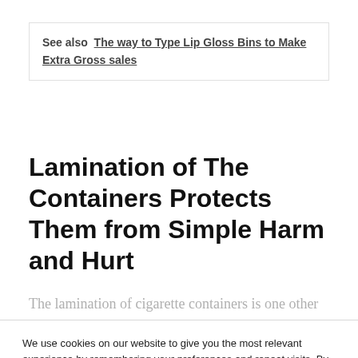See also  The way to Type Lip Gloss Bins to Make Extra Gross sales
Lamination of The Containers Protects Them from Simple Harm and Hurt
The lamination of cigarette containers is one other
We use cookies on our website to give you the most relevant experience by remembering your preferences and repeat visits. By clicking “Accept All”, you consent to the use of ALL the cookies. However, you may visit "Cookie Settings" to provide a controlled consent.